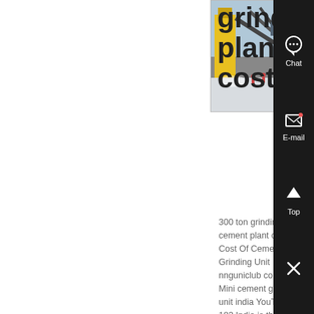[Figure (photo): Industrial grinding or crushing plant machinery with yellow equipment and conveyor belts, snowy outdoor setting with workers visible]
grinding plant cost
300 ton grinding unit cement plant cost Cost Of Cement Grinding Unit nnguniclub co za Mini cement grinding unit india YouTube 183 India is the second largest cement producing